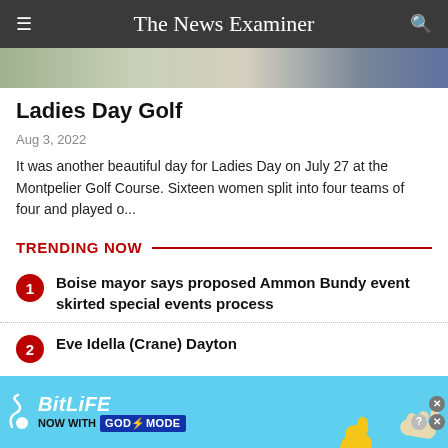The News Examiner
[Figure (photo): Partial photo showing people at a golf event, cropped at top of page]
Ladies Day Golf
Aug 3, 2022
It was another beautiful day for Ladies Day on July 27 at the Montpelier Golf Course. Sixteen women split into four teams of four and played o...
TRENDING NOW
Boise mayor says proposed Ammon Bundy event skirted special events process
Eve Idella (Crane) Dayton
[Figure (screenshot): BitLife advertisement banner: NOW WITH GOD MODE promotional ad with thumb and pointing hand graphics]